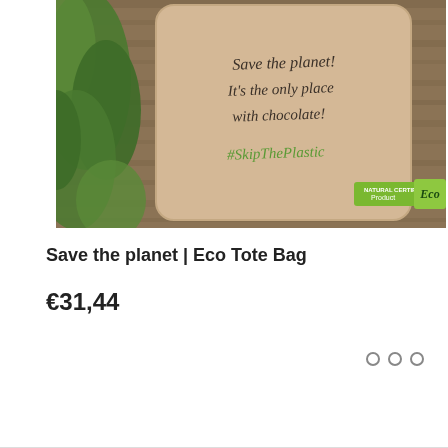[Figure (photo): Photo of a beige/tan canvas eco tote bag with cursive text reading 'Save the planet! It's the only place with chocolate!' and '#SkipThePlastic' in green. The bag is displayed on a wooden surface with green leaves on the left side. Bottom right corner has a green 'NATURAL CERTIFIED Product Eco' badge.]
Save the planet | Eco Tote Bag
€31,44